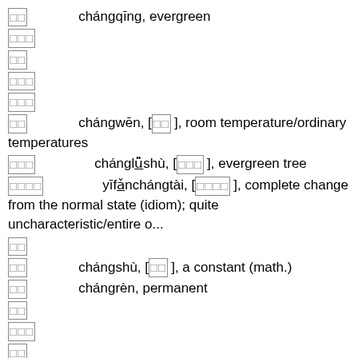□□    chángqīng, evergreen
□□□
□□
□□□
□□□
□□    chángwēn, [□□], room temperature/ordinary temperatures
□□□    chánglǚshù, [□□□], evergreen tree
□□□□    yīfǎnchángtài, [□□□□], complete change from the normal state (idiom); quite uncharacteristic/entire o...
□□
□□    chángshù, [□□], a constant (math.)
□□    chángrèn, permanent
□□
□□□
□□